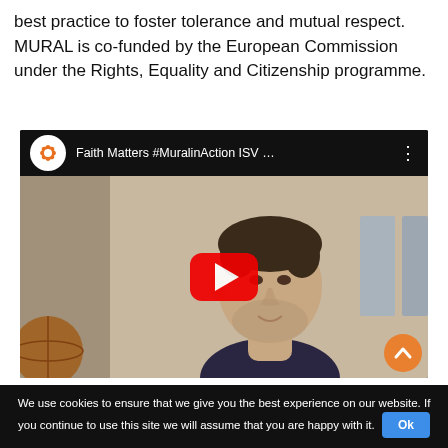best practice to foster tolerance and mutual respect. MURAL is co-funded by the European Commission under the Rights, Equality and Citizenship programme.
[Figure (screenshot): YouTube video embed showing a man being interviewed, with title 'Faith Matters #MuralinAction ISV …' and a red play button in the center.]
We use cookies to ensure that we give you the best experience on our website. If you continue to use this site we will assume that you are happy with it. Ok